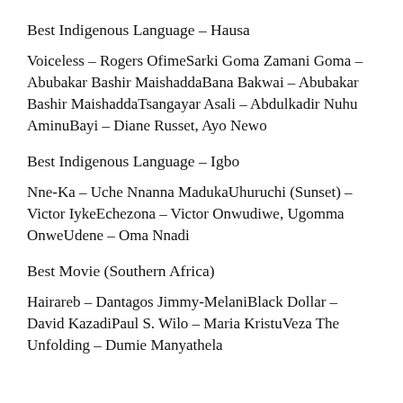Best Indigenous Language – Hausa
Voiceless – Rogers OfimeSarki Goma Zamani Goma – Abubakar Bashir MaishaddaBana Bakwai – Abubakar Bashir MaishaddaTsangayar Asali – Abdulkadir Nuhu AminuBayi – Diane Russet, Ayo Newo
Best Indigenous Language – Igbo
Nne-Ka – Uche Nnanna MadukaUhuruchi (Sunset) – Victor IykeEchezona – Victor Onwudiwe, Ugomma OnweUdene – Oma Nnadi
Best Movie (Southern Africa)
Hairareb – Dantagos Jimmy-MelaniBlack Dollar – David KazadiPaul S. Wilo – Maria KristuVeza The Unfolding – Dumie Manyathela